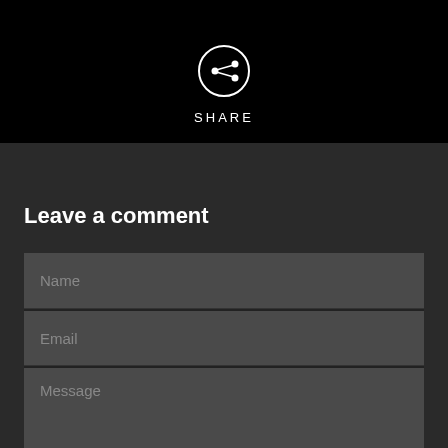[Figure (icon): Share icon: circle with share/network symbol in white on black background, with 'SHARE' text label below]
Leave a comment
Name
Email
Message